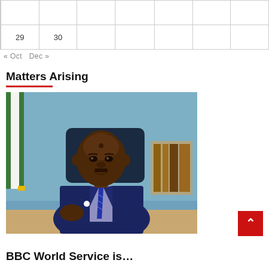|  |  |  |  |  |  |  |
| 29 | 30 |  |  |  |  |  |
« Oct   Dec »
Matters Arising
[Figure (photo): A man in a dark navy blue suit and striped tie, seated at a desk with a Nigerian flag visible in the background, appearing to speak or gesture with a clenched fist.]
BBC World Service is…